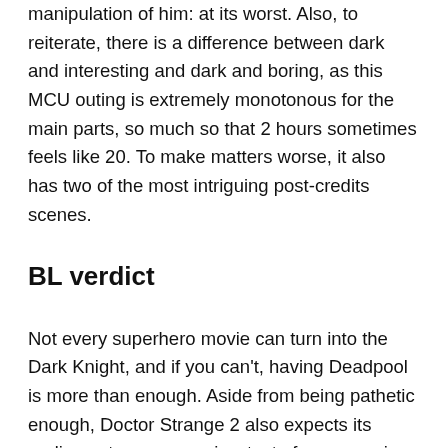manipulation of him: at its worst. Also, to reiterate, there is a difference between dark and interesting and dark and boring, as this MCU outing is extremely monotonous for the main parts, so much so that 2 hours sometimes feels like 20. To make matters worse, it also has two of the most intriguing post-credits scenes.
BL verdict
Not every superhero movie can turn into the Dark Knight, and if you can't, having Deadpool is more than enough. Aside from being pathetic enough, Doctor Strange 2 also expects its audience to pass a review test of everyone in the MCU, including Marvel's recent web series, when sometimes you just want to enjoy a movie. I'm going with 2 out of 5 stars for the show and